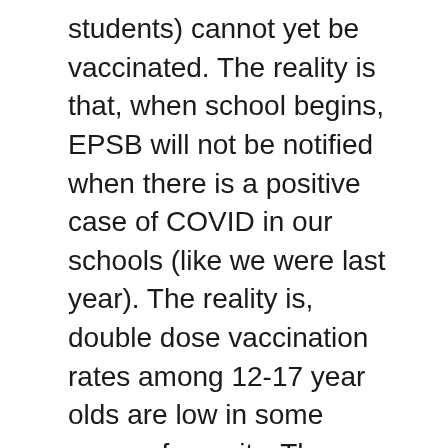students) cannot yet be vaccinated. The reality is that, when school begins, EPSB will not be notified when there is a positive case of COVID in our schools (like we were last year). The reality is, double dose vaccination rates among 12-17 year olds are low in some areas of our city. The reality is, the impact of the delta variant on children is not yet clear (in the US it's looking bad, in the UK where vaccination rates are higher the impact does not appear to be as severe.)
These are relevant facts and they should not be in dispute. If we can also agree that masks help prevent the spread of COVID-19 (and I